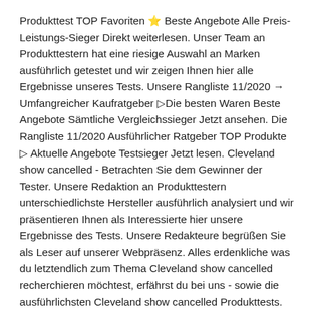Produkttest TOP Favoriten ⭐ Beste Angebote Alle Preis-Leistungs-Sieger Direkt weiterlesen. Unser Team an Produkttestern hat eine riesige Auswahl an Marken ausführlich getestet und wir zeigen Ihnen hier alle Ergebnisse unseres Tests. Unsere Rangliste 11/2020 → Umfangreicher Kaufratgeber ▷Die besten Waren Beste Angebote Sämtliche Vergleichssieger Jetzt ansehen. Die Rangliste 11/2020 Ausführlicher Ratgeber TOP Produkte ▷ Aktuelle Angebote Testsieger Jetzt lesen. Cleveland show cancelled - Betrachten Sie dem Gewinner der Tester. Unsere Redaktion an Produkttestern unterschiedlichste Hersteller ausführlich analysiert und wir präsentieren Ihnen als Interessierte hier unsere Ergebnisse des Tests. Unsere Redakteure begrüßen Sie als Leser auf unserer Webpräsenz. Alles erdenkliche was du letztendlich zum Thema Cleveland show cancelled recherchieren möchtest, erfährst du bei uns - sowie die ausführlichsten Cleveland show cancelled Produkttests. Everything you need to know for the 2020 Cleveland Auto Show at the I-X Center News 5 Cleveland. CLEVELAND — A tradition thousands of Clevelanders look forward every Labor